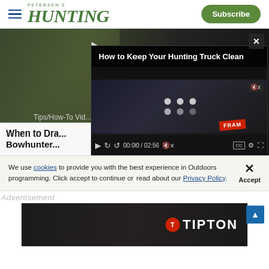Petersen's HUNTING — Subscribe
[Figure (screenshot): Video player showing a bowhunter in camouflage aiming a bow, with an overlaid video popup titled 'How to Keep Your Hunting Truck Clean' showing loading dots and a FRAM filter product. Video controls show 00:00 / 02:56.]
Tips/How-To Vid...
When to Dra... Bowhunter...
We use cookies to provide you with the best experience in Outdoors programming. Click accept to continue or read about our Privacy Policy.
Advertisement
[Figure (photo): Advertisement image for Tipton showing a rifle on a surface with Tipton logo on the right side]